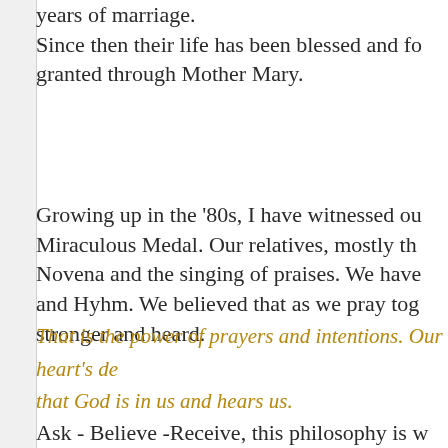years of marriage. Since then their life has been blessed and granted through Mother Mary.
Growing up in the '80s, I have witnessed our Miraculous Medal. Our relatives, mostly the Novena and the singing of praises. We have and Hyhm. We believed that as we pray together stronger and heard.
That is the power of prayers and intentions. Our heart's desire that God is in us and hears us.
Ask - Believe -Receive, this philosophy is